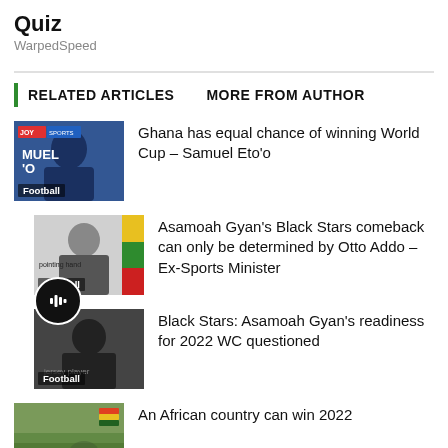Quiz
WarpedSpeed
RELATED ARTICLES   MORE FROM AUTHOR
[Figure (photo): Thumbnail photo with 'Football' label - Joy Sports / Samuel Eto'o]
Ghana has equal chance of winning World Cup – Samuel Eto'o
[Figure (photo): Thumbnail photo with 'Football' label - Asamoah Gyan Black Stars]
Asamoah Gyan's Black Stars comeback can only be determined by Otto Addo – Ex-Sports Minister
[Figure (photo): Thumbnail photo with 'Football' label - Black Stars Asamoah Gyan]
Black Stars: Asamoah Gyan's readiness for 2022 WC questioned
[Figure (photo): Thumbnail photo - African country 2022]
An African country can win 2022